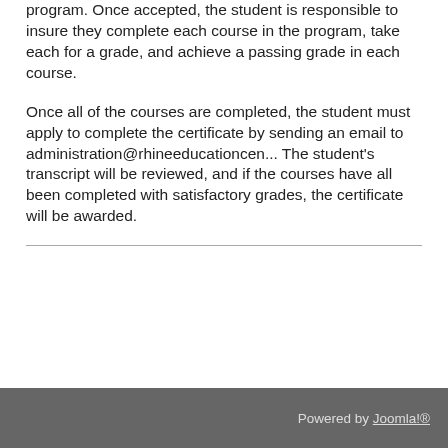program. Once accepted, the student is responsible to insure they complete each course in the program, take each for a grade, and achieve a passing grade in each course.
Once all of the courses are completed, the student must apply to complete the certificate by sending an email to administration@rhineeducationcen... The student's transcript will be reviewed, and if the courses have all been completed with satisfactory grades, the certificate will be awarded.
Powered by Joomla!®